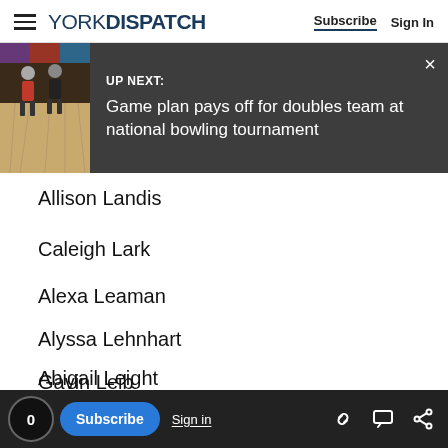YORK DISPATCH | Subscribe | Sign In
[Figure (screenshot): Up Next banner with bowling image: 'Game plan pays off for doubles team at national bowling tournament']
Allison Landis
Caleigh Lark
Alexa Leaman
Alyssa Lehnhart
Gavin Leib
Abigail Leight
0 | Subscribe | Sign in | [link icon] [comment icon] [share icon]